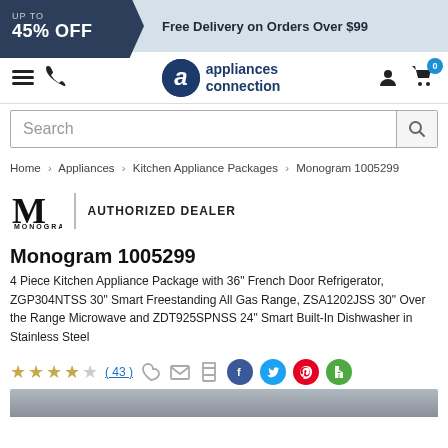UP TO 45% OFF | Free Delivery on Orders Over $99
[Figure (logo): Appliances Connection logo with hamburger menu, phone icon, user icon, and cart icon with 0 badge]
Search
Home > Appliances > Kitchen Appliance Packages > Monogram 1005299
[Figure (logo): Monogram M logo with AUTHORIZED DEALER text]
Monogram 1005299
4 Piece Kitchen Appliance Package with 36" French Door Refrigerator, ZGP304NTSS 30" Smart Freestanding All Gas Range, ZSA1202JSS 30" Over the Range Microwave and ZDT925SPNSS 24" Smart Built-In Dishwasher in Stainless Steel
★★★★☆ ( 43 )
[Figure (other): Product image strip at bottom]